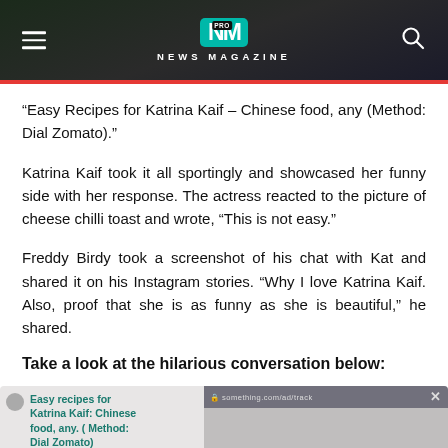NEWS MAGAZINE
“Easy Recipes for Katrina Kaif – Chinese food, any (Method: Dial Zomato).”
Katrina Kaif took it all sportingly and showcased her funny side with her response. The actress reacted to the picture of cheese chilli toast and wrote, “This is not easy.”
Freddy Birdy took a screenshot of his chat with Kat and shared it on his Instagram stories. “Why I love Katrina Kaif. Also, proof that she is as funny as she is beautiful,” he shared.
Take a look at the hilarious conversation below:
[Figure (screenshot): Screenshot of a chat conversation showing the message about easy recipes for Katrina Kaif with Chinese food and an advertisement panel on the right]